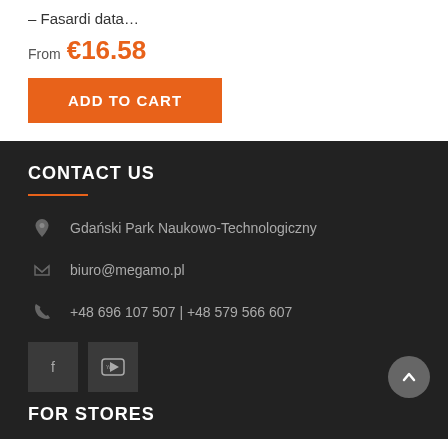– Fasardi data…
From €16.58
ADD TO CART
CONTACT US
Gdański Park Naukowo-Technologiczny
biuro@megamo.pl
+48 696 107 507 | +48 579 566 607
FOR STORES